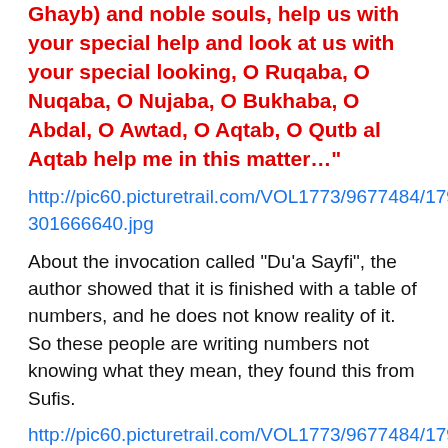Ghayb) and noble souls, help us with your special help and look at us with your special looking, O Ruqaba, O Nuqaba, O Nujaba, O Bukhaba, O Abdal, O Awtad, O Aqtab, O Qutb al Aqtab help me in this matter…”
http://pic60.picturetrail.com/VOL1773/9677484/17902368/301666640.jpg
About the invocation called "Du’a Sayfi", the author showed that it is finished with a table of numbers, and he does not know reality of it. So these people are writing numbers not knowing what they mean, they found this from Sufis.
http://pic60.picturetrail.com/VOL1773/9677484/17902368/301667637.jpg